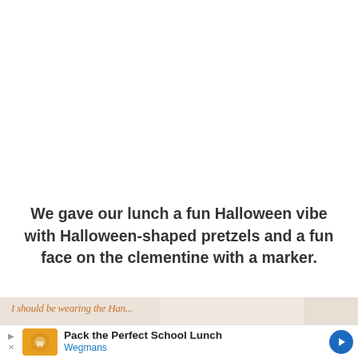[Figure (photo): Top strip of a photo, partially cropped — appears to show a lunch or food scene]
We gave our lunch a fun Halloween vibe with Halloween-shaped pretzels and a fun face on the clementine with a marker.
[Figure (photo): Bottom partially visible photo with orange italic text overlay reading 'I should be wearing the Han...']
[Figure (other): Advertisement banner: Pack the Perfect School Lunch — Wegmans, with Wegmans logo and blue arrow button]